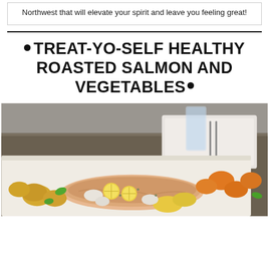Northwest that will elevate your spirit and leave you feeling great!
• TREAT-YO-SELF HEALTHY ROASTED SALMON AND VEGETABLES•
[Figure (photo): Photo of roasted salmon fillet topped with lemon slices and surrounded by roasted vegetables including potatoes, carrots, yellow peppers, and onions on a white baking tray, with a glass of water and place setting in the background]